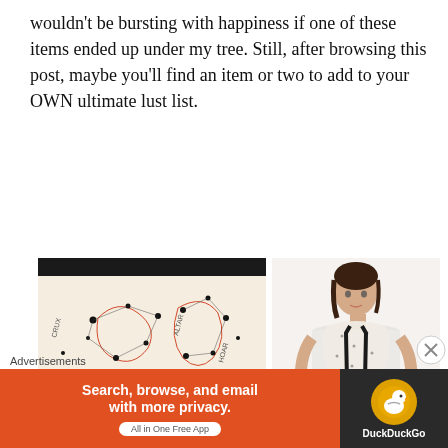wouldn't be bursting with happiness if one of these items ended up under my tree. Still, after browsing this post, maybe you'll find an item or two to add to your OWN ultimate lust list.
[Figure (photo): Close-up of a constellation-printed fabric/scarf with black border, showing zodiac constellation patterns in red and black dots on cream background]
[Figure (photo): Woman wearing a light constellation-print scarf with black trim, dressed in white short-sleeve top]
Advertisements
[Figure (screenshot): DuckDuckGo advertisement banner: 'Search, browse, and email with more privacy. All in One Free App' on orange background with DuckDuckGo logo on dark background]